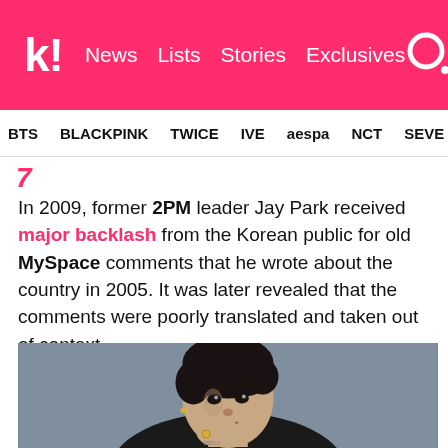k! News  Lists  Stories  Exclusives
BTS  BLACKPINK  TWICE  IVE  aespa  NCT  SEVE
In 2009, former 2PM leader Jay Park received major backlash from the Korean public for old MySpace comments that he wrote about the country in 2005. It was later revealed that the comments were poorly translated and taken out of context.
[Figure (photo): Portrait photo of Jay Park, a Korean-American musician, posing with hand near chin, wearing a black jacket, with tattoos visible on his arm. Background is grey.]